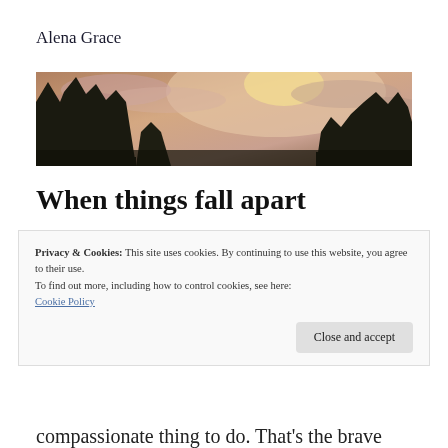Alena Grace
[Figure (photo): Panoramic photo of a sunset sky with pink and orange clouds, framed by dark silhouettes of tall evergreen trees on both sides]
When things fall apart
Privacy & Cookies: This site uses cookies. By continuing to use this website, you agree to their use.
To find out more, including how to control cookies, see here:
Cookie Policy
Close and accept
compassionate thing to do. That’s the brave